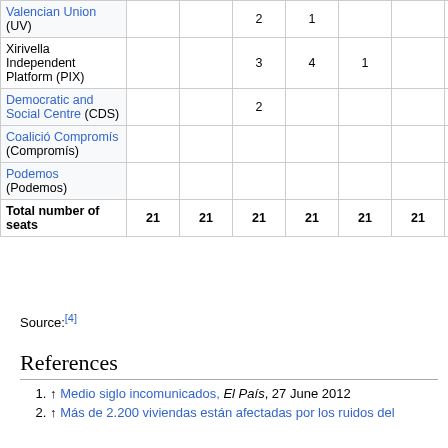| Party | 1979 | 1983 | 1987 | 1991 | 1995 | 1999 | 2003 | 2007 |
| --- | --- | --- | --- | --- | --- | --- | --- | --- |
| Valencian Union (UV) |  |  | 2 | 1 |  |  |  |  |
| Xirivella Independent Platform (PIX) |  |  | 3 | 4 | 1 |  |  |  |
| Democratic and Social Centre (CDS) |  |  | 2 |  |  |  |  |  |
| Coalició Compromís (Compromís) |  |  |  |  |  |  |  |  |
| Podemos (Podemos) |  |  |  |  |  |  |  |  |
| Total number of seats | 21 | 21 | 21 | 21 | 21 | 21 | 21 | 21 |
Source:[4]
References
↑ Medio siglo incomunicados, El País, 27 June 2012
↑ Más de 2.200 viviendas están afectadas por los ruidos del